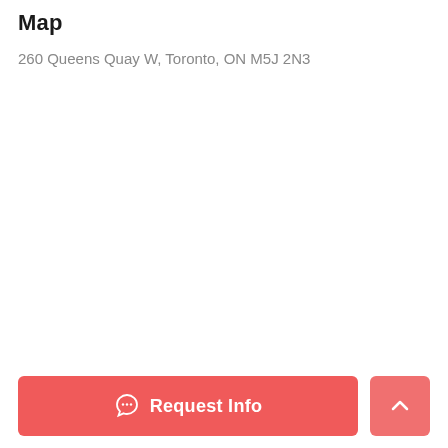Map
260 Queens Quay W, Toronto, ON M5J 2N3
[Figure (other): Empty white map area placeholder]
Request Info